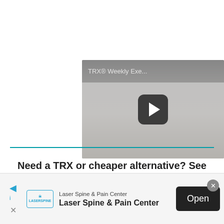[Figure (screenshot): Video thumbnail for TRX Weekly Exercise with a play button overlay, showing a person exercising with TRX straps.]
Need a TRX or cheaper alternative? See our review on the best Suspensions Trainer to
[Figure (screenshot): Advertisement banner for Laser Spine & Pain Center with Open button and close X button.]